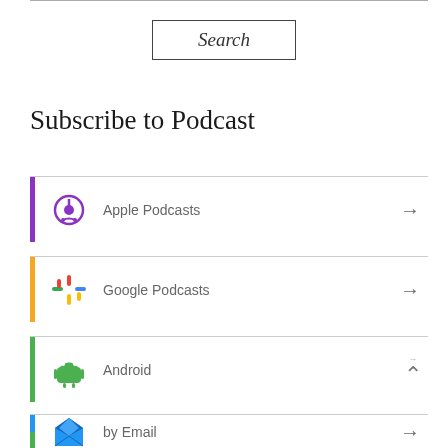[Figure (screenshot): Search bar input field at top of page]
Search
Subscribe to Podcast
Apple Podcasts
Google Podcasts
Android
by Email
RSS